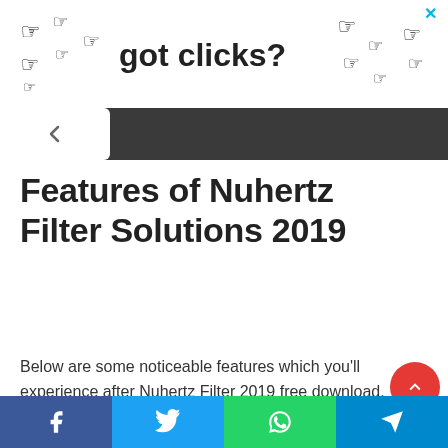[Figure (infographic): Ad banner showing pointing finger icons and text 'got clicks?' with a close X button in cyan]
Navigation bar with back arrow
Features of Nuhertz Filter Solutions 2019
Below are some noticeable features which you'll experience after Nuhertz Filter 2019 free download.
Social share bar with Facebook, Twitter, WhatsApp, Telegram buttons